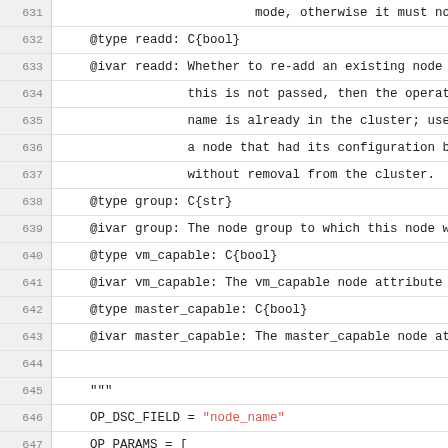[Figure (screenshot): Source code listing lines 631-655 showing Python docstring and class attributes including OP_DSC_FIELD and OP_PARAMS definitions]